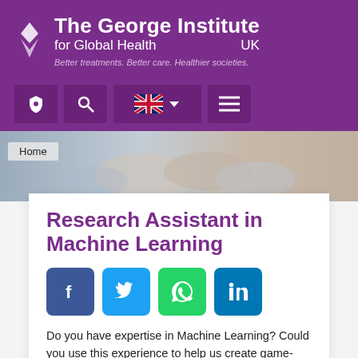[Figure (logo): The George Institute for Global Health UK logo with white text on purple background and tagline 'Better treatments. Better care. Healthier societies.']
[Figure (screenshot): Navigation bar with purple background showing shield icon, search icon, UK flag with dropdown, and hamburger menu buttons]
[Figure (photo): Hero image showing people holding hands together, with breadcrumb 'Home' overlay]
Research Assistant in Machine Learning
[Figure (infographic): Social sharing icons: Facebook (blue), Twitter (light blue), WhatsApp (green), LinkedIn (dark blue)]
Do you have expertise in Machine Learning? Could you use this experience to help us create game-changing solutions for healthcare problems?